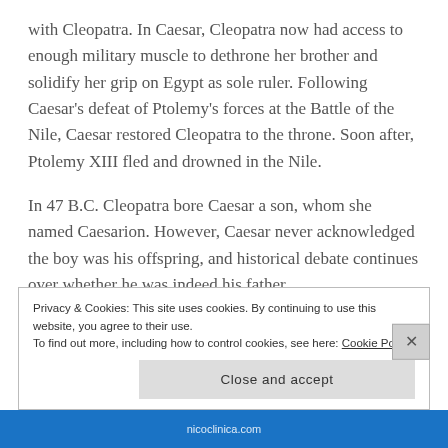with Cleopatra. In Caesar, Cleopatra now had access to enough military muscle to dethrone her brother and solidify her grip on Egypt as sole ruler. Following Caesar's defeat of Ptolemy's forces at the Battle of the Nile, Caesar restored Cleopatra to the throne. Soon after, Ptolemy XIII fled and drowned in the Nile.
In 47 B.C. Cleopatra bore Caesar a son, whom she named Caesarion. However, Caesar never acknowledged the boy was his offspring, and historical debate continues over whether he was indeed his father.
Privacy & Cookies: This site uses cookies. By continuing to use this website, you agree to their use.
To find out more, including how to control cookies, see here: Cookie Policy
Close and accept